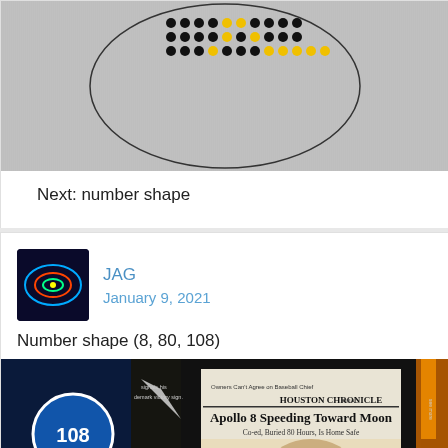[Figure (photo): A circular metal plate/speaker grille with black and yellow dots arranged in a grid pattern forming a number or letter shape, on a brushed metal surface.]
Next: number shape
[Figure (photo): Small avatar thumbnail: colorful abstract image on dark background representing user JAG.]
JAG
January 9, 2021
Number shape (8, 80, 108)
[Figure (photo): A dark collage/museum display showing a Houston Chronicle newspaper headline 'Apollo 8 Speeding Toward Moon', a person holding a victory sign, a figure (Nixon) smiling, and a number 108 sign on blue background. Orange candle/rocket on the right side.]